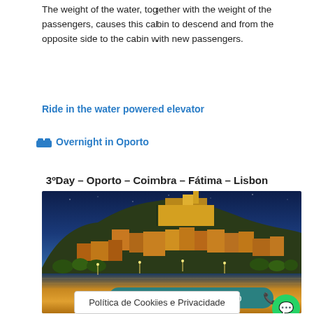The weight of the water, together with the weight of the passengers, causes this cabin to descend and from the opposite side to the cabin with new passengers.
Ride in the water powered elevator
🛏 Overnight in Oporto
3ºDay – Oporto – Coimbra – Fátima – Lisbon
[Figure (photo): Night cityscape of Coimbra, Portugal, with illuminated buildings on a hillside reflected in the river below. A teal 'Reservar / Contacto' button with phone icon overlays the bottom of the image.]
Política de Cookies e Privacidade